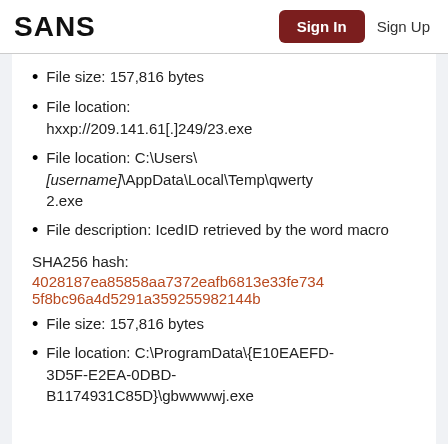SANS | Sign In | Sign Up
File size: 157,816 bytes
File location: hxxp://209.141.61[.]249/23.exe
File location: C:\Users\[username]\AppData\Local\Temp\qwerty2.exe
File description: IcedID retrieved by the word macro
SHA256 hash:
4028187ea85858aa7372eafb6813e33fe7345f8bc96a4d5291a359255982144b
File size: 157,816 bytes
File location: C:\ProgramData\{E10EAEFD-3D5F-E2EA-0DBD-B1174931C85D}\gbwwwwj.exe